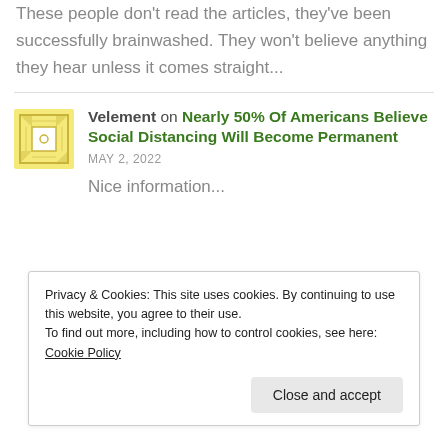These people don't read the articles, they've been successfully brainwashed. They won't believe anything they hear unless it comes straight...
Velement on Nearly 50% Of Americans Believe Social Distancing Will Become Permanent
MAY 2, 2022
Nice information...
Privacy & Cookies: This site uses cookies. By continuing to use this website, you agree to their use.
To find out more, including how to control cookies, see here: Cookie Policy
Close and accept